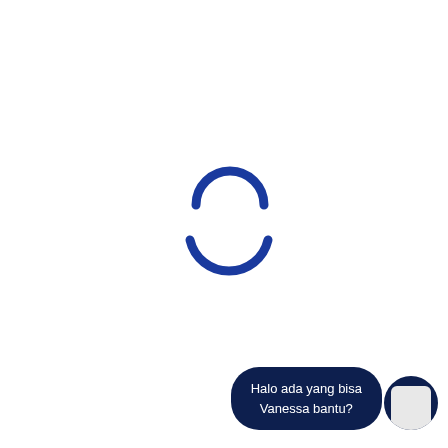[Figure (other): A loading spinner icon consisting of two blue arc segments (upper arc curving downward and lower arc curving upward) centered on a white background, indicating a page loading state.]
[Figure (other): A chat widget in the bottom-right corner showing a dark navy speech bubble with white text 'Halo ada yang bisa Vanessa bantu?' and a circular avatar with the name 'Vanessa' and a small user silhouette placeholder.]